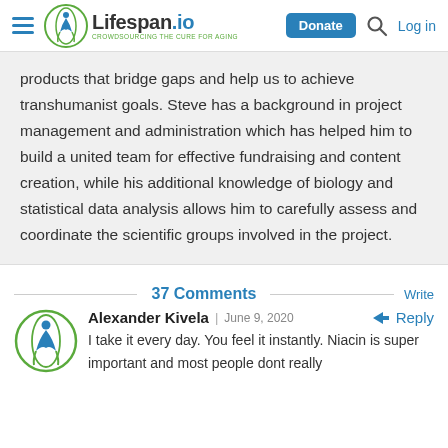[Figure (logo): Lifespan.io logo with navigation header including Donate button, search icon, and Log in link]
products that bridge gaps and help us to achieve transhumanist goals. Steve has a background in project management and administration which has helped him to build a united team for effective fundraising and content creation, while his additional knowledge of biology and statistical data analysis allows him to carefully assess and coordinate the scientific groups involved in the project.
37 Comments
Write
Alexander Kivela  |  June 9, 2020  Reply
I take it every day. You feel it instantly. Niacin is super important and most people dont really